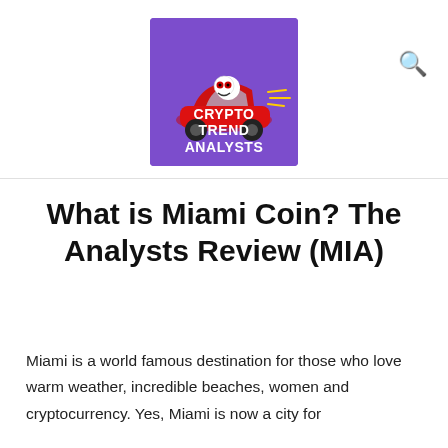[Figure (logo): Crypto Trend Analysts logo — purple background with a cartoon skull character driving a red sports car, text reading CRYPTO TREND ANALYSTS below]
What is Miami Coin? The Analysts Review (MIA)
Miami is a world famous destination for those who love warm weather, incredible beaches, women and cryptocurrency. Yes, Miami is now a city for